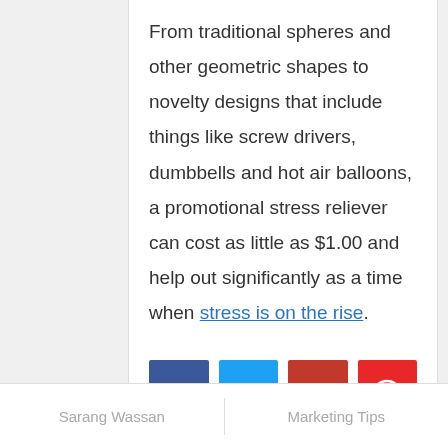From traditional spheres and other geometric shapes to novelty designs that include things like screw drivers, dumbbells and hot air balloons, a promotional stress reliever can cost as little as $1.00 and help out significantly as a time when stress is on the rise.
[Figure (other): Social media sharing icons: Facebook (blue), Twitter (light blue), Google+ (dark red), Pinterest (red)]
Sarang Wassan    Marketing Tips